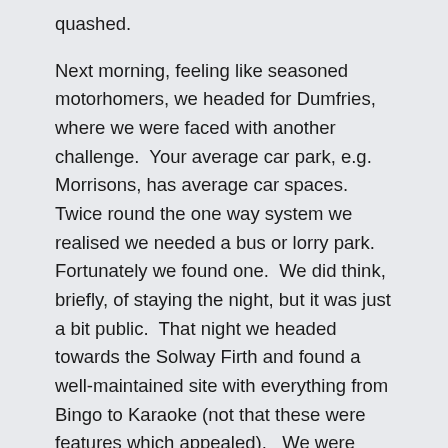quashed.
Next morning, feeling like seasoned motorhomers, we headed for Dumfries, where we were faced with another challenge.  Your average car park, e.g. Morrisons, has average car spaces.  Twice round the one way system we realised we needed a bus or lorry park.  Fortunately we found one.  We did think, briefly, of staying the night, but it was just a bit public.  That night we headed towards the Solway Firth and found a well-maintained site with everything from Bingo to Karaoke (not that these were features which appealed).   We were given a pitch number, but just as my husband reversed, we realised there was a three inch metal bolt sticking up from the asphalt.  Abandoning that pitch, he moved to the next one, where we got set up for the night.  Unfortunately, our jazzy little control board indicated no mains power.  We tried standard disconnect, reconnect.  No joy.  Time to refer to the multiple